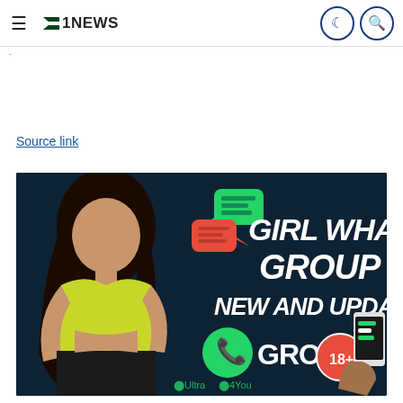≡ 1NEWS [moon icon] [search icon]
Source link
[Figure (photo): Advertisement banner image showing a young woman in a yellow crop top with text 'GIRL WHATSAPP GROUP LINK NEW AND UPDATED GROUP 18+ Ultra 4You' on a dark teal background with WhatsApp logo and chat bubbles]